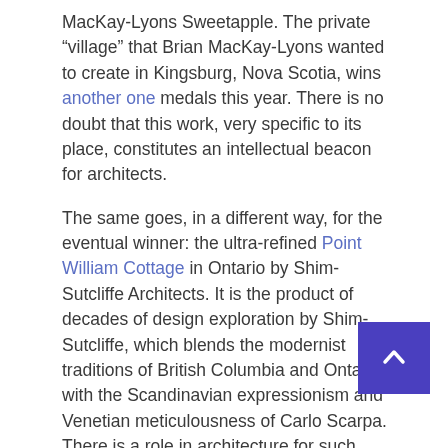MacKay-Lyons Sweetapple. The private "village" that Brian MacKay-Lyons wanted to create in Kingsburg, Nova Scotia, wins another one medals this year. There is no doubt that this work, very specific to its place, constitutes an intellectual beacon for architects.
The same goes, in a different way, for the eventual winner: the ultra-refined Point William Cottage in Ontario by Shim-Sutcliffe Architects. It is the product of decades of design exploration by Shim-Sutcliffe, which blends the modernist traditions of British Columbia and Ontario with the Scandinavian expressionism and Venetian meticulousness of Carlo Scarpa. There is a role in architecture for such work: the endless refinement of form and detail for discerning and affluent clients.
But it is in the public sphere that architecture has most meaning. If GG Medals represent the state of the art, where are the other public libraries? Leisure centers...